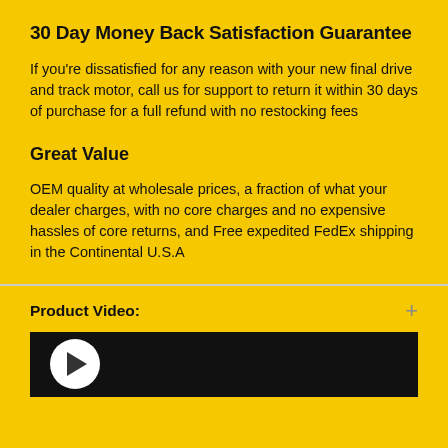30 Day Money Back Satisfaction Guarantee
If you're dissatisfied for any reason with your new final drive and track motor, call us for support to return it within 30 days of purchase for a full refund with no restocking fees
Great Value
OEM quality at wholesale prices, a fraction of what your dealer charges, with no core charges and no expensive hassles of core returns, and Free expedited FedEx shipping in the Continental U.S.A
Product Video:
[Figure (other): Video thumbnail showing play button on dark background]